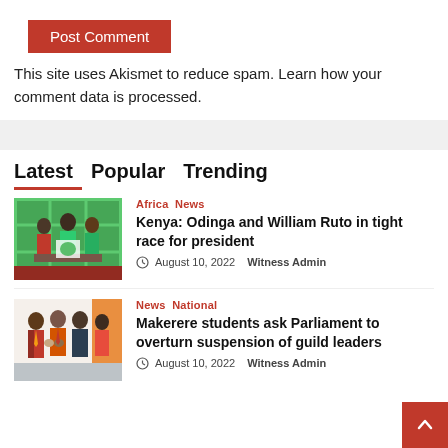[Figure (other): Red 'Post Comment' button]
This site uses Akismet to reduce spam. Learn how your comment data is processed.
Latest  Popular  Trending
[Figure (photo): Photo of people standing at a podium with green background, Kenya election event]
Africa  News
Kenya: Odinga and William Ruto in tight race for president
August 10, 2022  Witness Admin
[Figure (photo): Photo of men in suits shaking hands at an event]
News  National
Makerere students ask Parliament to overturn suspension of guild leaders
August 10, 2022  Witness Admin